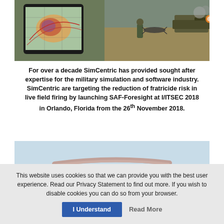[Figure (photo): Composite image showing a tablet with a tactical map overlay on the left, and a soldier operating near a drone with a tank firing in the background on the right.]
For over a decade SimCentric has provided sought after expertise for the military simulation and software industry. SimCentric are targeting the reduction of fratricide risk in live field firing by launching SAF-Foresight at I/ITSEC 2018 in Orlando, Florida from the 26th November 2018.
[Figure (photo): Partial image showing what appears to be a flying object or drone against a light blue sky background.]
This website uses cookies so that we can provide you with the best user experience. Read our Privacy Statement to find out more. If you wish to disable cookies you can do so from your browser.